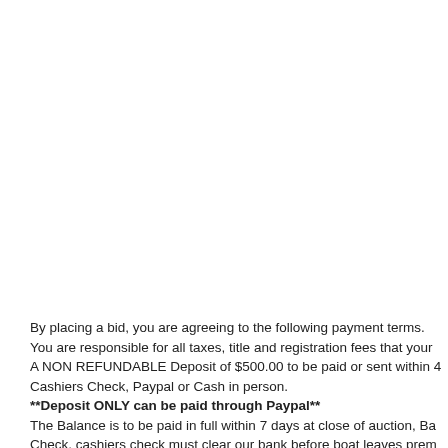By placing a bid, you are agreeing to the following payment terms. You are responsible for all taxes, title and registration fees that your A NON REFUNDABLE Deposit of $500.00 to be paid or sent within 4 Cashiers Check, Paypal or Cash in person. **Deposit ONLY can be paid through Paypal** The Balance is to be paid in full within 7 days at close of auction, Ba Check, cashiers check must clear our bank before boat leaves prem when the banks are closed please bring cash in person.